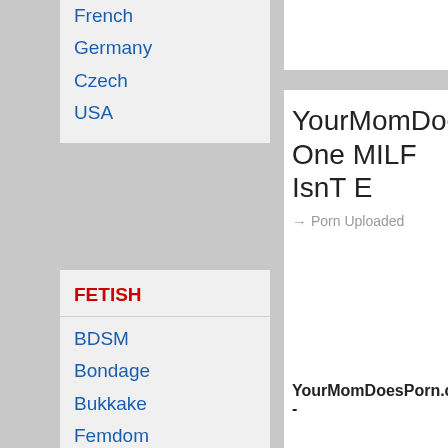French
Germany
Czech
USA
FETISH
BDSM
Bondage
Bukkake
Femdom
Fetish
Fisting
Foot Fetish
Hairy
Incest
Latex
Pissing
Prolapse
Shemale
Strapon
YourMomDoesPo... One MILF IsnT E...
Porn Uploaded
YourMomDoesPorn.com -